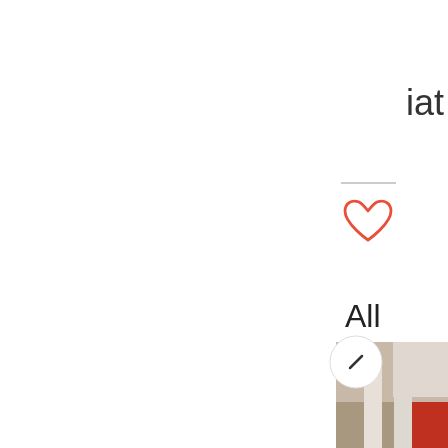iat
[Figure (other): Heart/like icon outline in red/coral color]
All
[Figure (photo): Partial screenshot showing a circular back button overlay on top of a photo of an interior room with red accents]